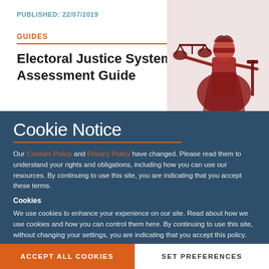PUBLISHED: 22/07/2019
GUIDES
Electoral Justice System Assessment Guide
[Figure (illustration): Red-tinted illustration of Lady Justice holding scales and sword]
Cookie Notice
Our Cookies Policy and Privacy Policy have changed. Please read them to understand your rights and obligations, including how you can use our resources. By continuing to use this site, you are indicating that you accept these terms.
Cookies
We use cookies to enhance your experience on our site. Read about how we use cookies and how you can control them here. By continuing to use this site, without changing your settings, you are indicating that you accept this policy.
ACCEPT ALL COOKIES
SET PREFERENCES